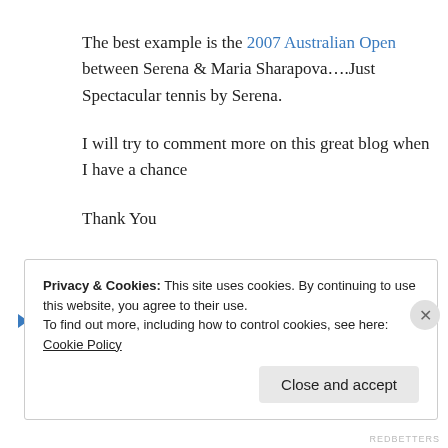The best example is the 2007 Australian Open between Serena & Maria Sharapova….Just Spectacular tennis by Serena.
I will try to comment more on this great blog when I have a chance
Thank You
↳ Reply
Privacy & Cookies: This site uses cookies. By continuing to use this website, you agree to their use. To find out more, including how to control cookies, see here: Cookie Policy
Close and accept